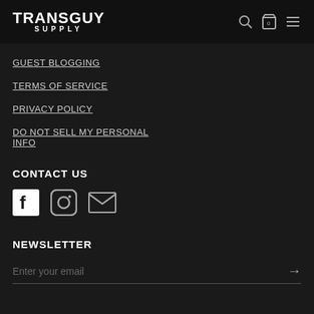TRANSGUY SUPPLY
GUEST BLOGGING
TERMS OF SERVICE
PRIVACY POLICY
DO NOT SELL MY PERSONAL INFO
CONTACT US
[Figure (illustration): Social media icons: Facebook, Instagram, Email]
NEWSLETTER
Enter your email